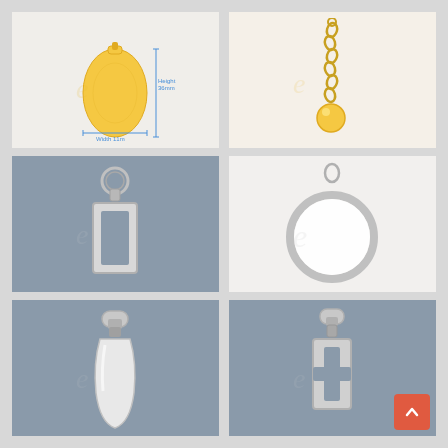[Figure (photo): Gold/yellow oval pendant with blue measurement annotations showing Height 36mm and Width 11mm, with watermark logo]
[Figure (photo): Gold chain zipper pull with twisted chain links and gold ball at bottom end, on light background with watermark]
[Figure (photo): Silver rectangular zipper pull/ring tab with round split ring at top, on blue-grey background with watermark]
[Figure (photo): Silver circular ring pendant/charm with small bail/loop at top, on light background with watermark]
[Figure (photo): White/silver elongated teardrop-shaped zipper pull on blue-grey background with watermark]
[Figure (photo): Silver rectangular framed zipper pull with cross/plus shape cut-out detail, on blue-grey background with watermark]